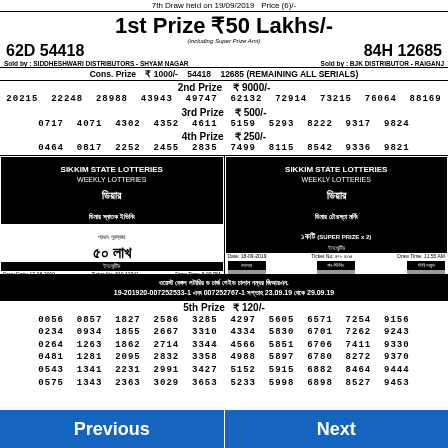7th Draw held on 19/09/2019  Price (6)/-
1st Prize ₹50 Lakhs/-
62D 54418   (including Super Prize Amt)   84H 12685
Sold by: SIDDHESHWARI DISTRIBUTORS - SHYAM NAGAR   Sold by: BJK DISTRIBUTOR - RAIGANJ
Cons. Prize  ₹ 1000/-  54418  12685 (REMAINING ALL SERIALS)
2nd Prize  ₹ 9000/-
20215  22248  28988  43943  49747  62132  72914  73215  76064  88169
3rd Prize  ₹ 500/-
0717  4071  4302  4352  4611  5159  5293  8222  9317  9824
4th Prize  ₹ 250/-
0464  0817  2252  2455  2835  7499  8115  8542  9336  9821
[Figure (photo): Two lottery advertisement panels in Bengali script showing 50 lakh and 1 crore prize winners with photographs]
ওয়েস্ট বেঙ্গল লটারির চ চার্জ পেয়িড চালান নম্বর জিআরএন. 19-201920-007252533-1 এবং 007252767-1 সপ্তাহ 23.09.19 থেকে 29.09.19
5th Prize  ₹ 120/-
0056  0857  1827  2586  3285  4297  5605  6571  7254  9156
0234  0934  1855  2667  3310  4334  5830  6701  7262  9243
0264  1263  1862  2714  3344  4566  5851  6706  7411  9330
0481  1281  2095  2832  3358  4988  5897  6780  8272  9370
0543  1341  2231  2991  3427  5152  5915  6882  8464  9444
0575  1343  2363  3029  3653  5233  5998  6898  8527  9453
Previous   Next